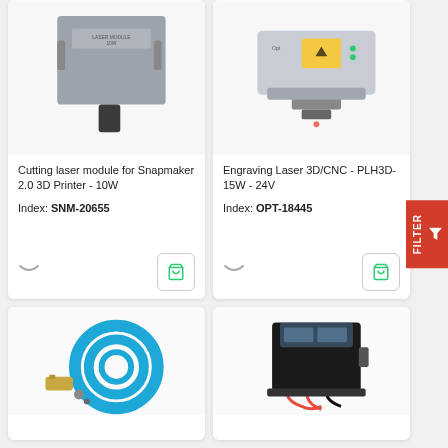[Figure (photo): Cutting laser module for Snapmaker 2.0 3D Printer - 10W, gray rectangular device]
Cutting laser module for Snapmaker 2.0 3D Printer - 10W
Index: SNM-20655
[Figure (photo): Engraving Laser 3D/CNC - PLH3D-15W - 24V, silver laser engraving head with yellow safety label]
Engraving Laser 3D/CNC - PLH3D-15W - 24V
Index: OPT-18445
[Figure (photo): Blue pneumatic hose coil with brass fitting connector]
[Figure (photo): Black industrial pump or compressor unit with red wiring]